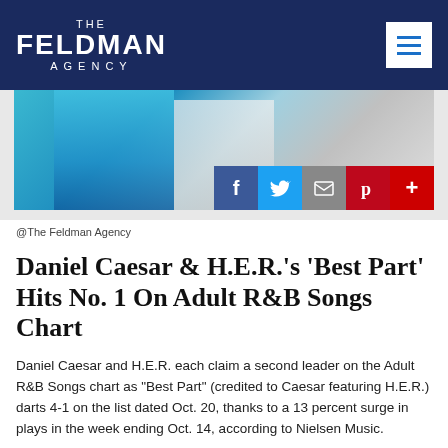THE FELDMAN AGENCY
[Figure (photo): Photo of two performers on stage, one in a blue outfit; social media share buttons (Facebook, Twitter, Email, Pinterest, More) overlaid at bottom right]
@The Feldman Agency
Daniel Caesar & H.E.R.'s 'Best Part' Hits No. 1 On Adult R&B Songs Chart
Daniel Caesar and H.E.R. each claim a second leader on the Adult R&B Songs chart as "Best Part" (credited to Caesar featuring H.E.R.) darts 4-1 on the list dated Oct. 20, thanks to a 13 percent surge in plays in the week ending Oct. 14, according to Nielsen Music.
The song gives Caesar his second No. 1 on the chart,